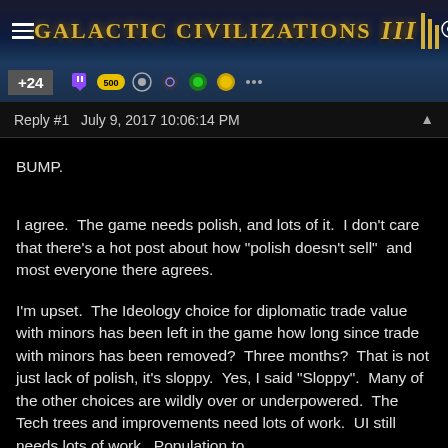Galactic Civilizations III
Reply #1   July 9, 2017 10:06:14 PM
BUMP.
I agree.  The game needs polish, and lots of it.  I don't care that there's a hot post about how "polish doesn't sell"  and most everyone there agrees.
I'm upset.  The Ideology choice for diplomatic trade value with minors has been left in the game how long since trade with minors has been removed?  Three months?  That is not just lack of polish, it's sloppy.  Yes, I said "Sloppy".  Many of the other choices are wildly over or underpowered.  The Tech trees and improvements need lots of work.  UI still needs lots of work.  Population to